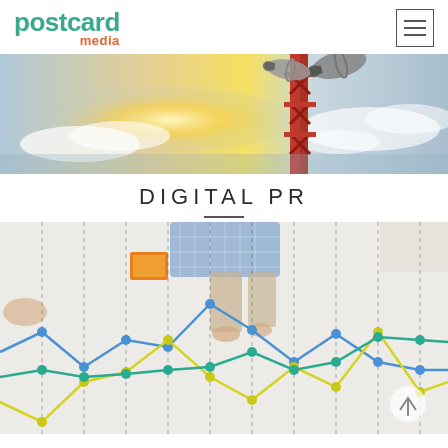postcard media
[Figure (photo): Outdoor loudspeaker / megaphone on a red tower against a bright sky with clouds]
DIGITAL PR
[Figure (line-chart): Multi-series line chart overlaid on a photo of people working on a floor, showing three colored lines (blue, yellow/lime, teal) with circle markers plotted across multiple data points against a light background with vertical dashed gridlines]